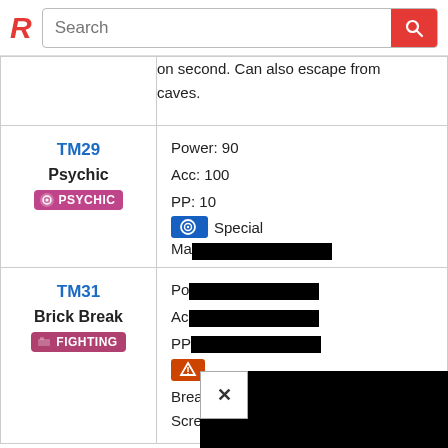Search
| (continuation) | on second. Can also escape from caves. |
| TM29 Psychic PSYCHIC | Power: 90
Acc: 100
PP: 10
Special
Ma... |
| TM31 Brick Break FIGHTING | Power: ...
Acc: ...
PP: ...
Physical
Breaks through Reflect and Light Screen barriers. |